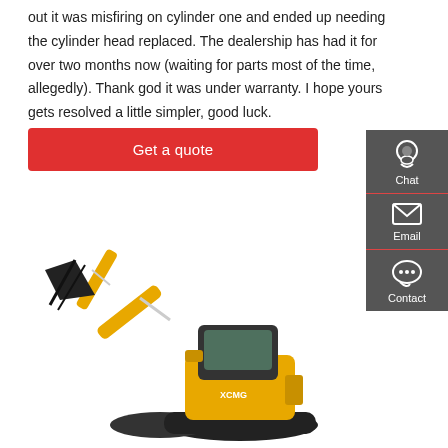out it was misfiring on cylinder one and ended up needing the cylinder head replaced. The dealership has had it for over two months now (waiting for parts most of the time, allegedly). Thank god it was under warranty. I hope yours gets resolved a little simpler, good luck.
Get a quote
[Figure (screenshot): Sidebar with Chat, Email, and Contact icons on dark grey background]
[Figure (photo): Yellow XCMG mini excavator on white background]